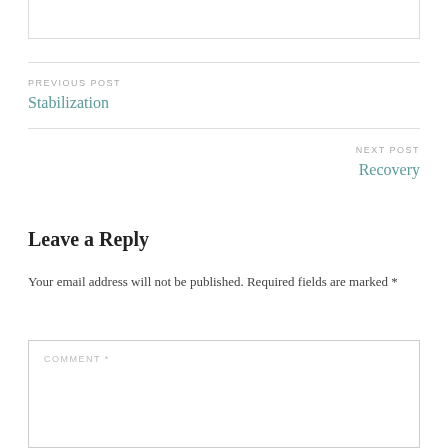PREVIOUS POST
Stabilization
NEXT POST
Recovery
Leave a Reply
Your email address will not be published. Required fields are marked *
COMMENT *